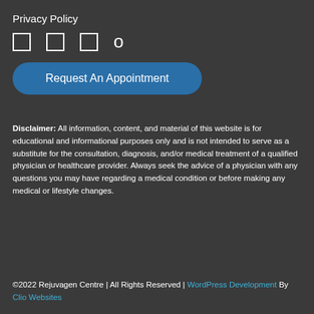Privacy Policy
[Figure (infographic): Row of four icon boxes (three square outlined boxes and one arrow/back character) representing social or navigation icons]
Request An Appointment
Disclaimer: All information, content, and material of this website is for educational and informational purposes only and is not intended to serve as a substitute for the consultation, diagnosis, and/or medical treatment of a qualified physician or healthcare provider. Always seek the advice of a physician with any questions you may have regarding a medical condition or before making any medical or lifestyle changes.
©2022 Rejuvagen Centre | All Rights Reserved | WordPress Development By Clio Websites